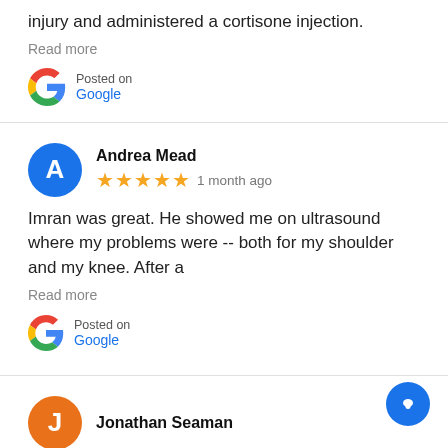injury and administered a cortisone injection.
Read more
Posted on Google
Andrea Mead
1 month ago
Imran was great. He showed me on ultrasound where my problems were -- both for my shoulder and my knee. After a
Read more
Posted on Google
Jonathan Seaman